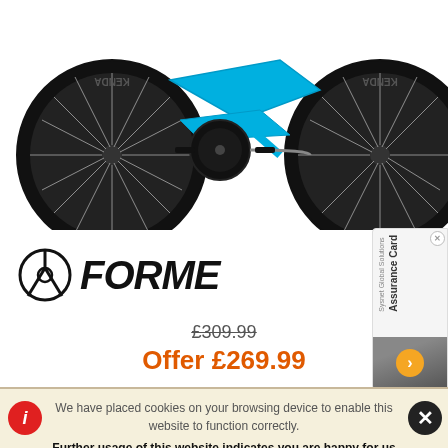[Figure (photo): Partial view of a blue mountain bike (Forme brand) showing wheels with Kenda tires, chain, crankset and frame in cyan/blue color]
[Figure (logo): Forme Bikes logo: circular icon with Y/trident symbol and italic FORME text]
£309.99
Offer £269.99
[Figure (other): Sysnet Global Solutions Assurance Card partial widget on right side with orange arrow button]
We have placed cookies on your browsing device to enable this website to function correctly.
Further usage of this website indicates you are happy for us to do this..
Find out about the cookies we have set and how we use them.